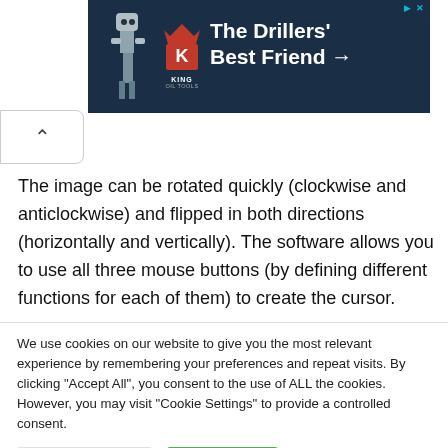[Figure (illustration): King Oil Tools advertisement banner with dark blue background showing robot/drill equipment image on left, red K logo with crown, and text 'The Drillers' Best Friend →']
The image can be rotated quickly (clockwise and anticlockwise) and flipped in both directions (horizontally and vertically). The software allows you to use all three mouse buttons (by defining different functions for each of them) to create the cursor.
We use cookies on our website to give you the most relevant experience by remembering your preferences and repeat visits. By clicking "Accept All", you consent to the use of ALL the cookies. However, you may visit "Cookie Settings" to provide a controlled consent.